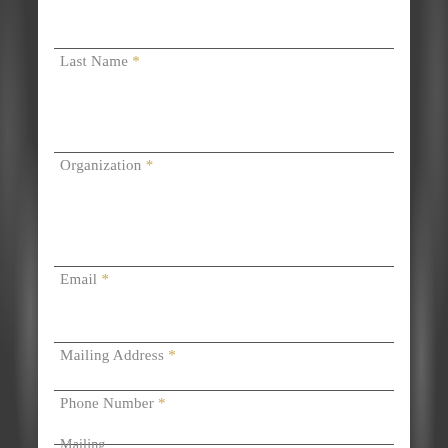Last Name *
Organization *
Email *
Mailing Address *
Phone Number *